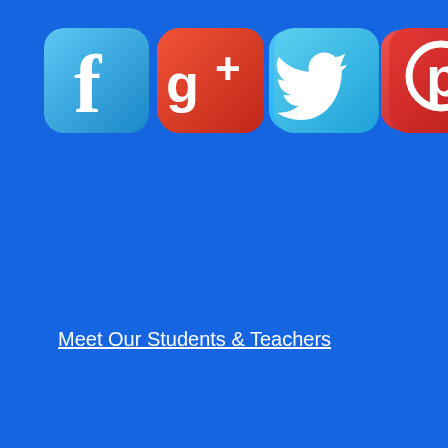[Figure (infographic): Seven social media icons arranged in two rows on a blue background: Facebook, Google+, Twitter, Pinterest, YouTube (row 1), RSS feed, Instagram (row 2)]
Meet Our Students & Teachers